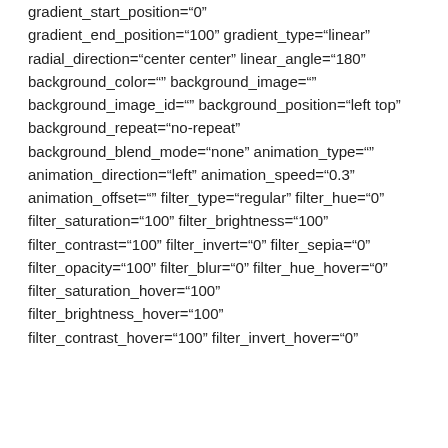gradient_start_position="0" gradient_end_position="100" gradient_type="linear" radial_direction="center center" linear_angle="180" background_color="" background_image="" background_image_id="" background_position="left top" background_repeat="no-repeat" background_blend_mode="none" animation_type="" animation_direction="left" animation_speed="0.3" animation_offset="" filter_type="regular" filter_hue="0" filter_saturation="100" filter_brightness="100" filter_contrast="100" filter_invert="0" filter_sepia="0" filter_opacity="100" filter_blur="0" filter_hue_hover="0" filter_saturation_hover="100" filter_brightness_hover="100" filter_contrast_hover="100" filter_invert_hover="0"